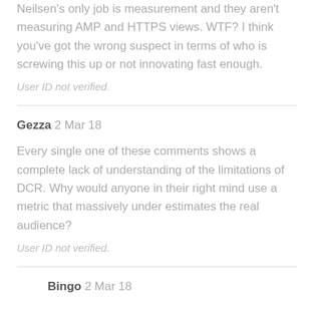Neilsen's only job is measurement and they aren't measuring AMP and HTTPS views. WTF? I think you've got the wrong suspect in terms of who is screwing this up or not innovating fast enough.
User ID not verified.
Gezza  2 Mar 18
Every single one of these comments shows a complete lack of understanding of the limitations of DCR. Why would anyone in their right mind use a metric that massively under estimates the real audience?
User ID not verified.
Bingo  2 Mar 18